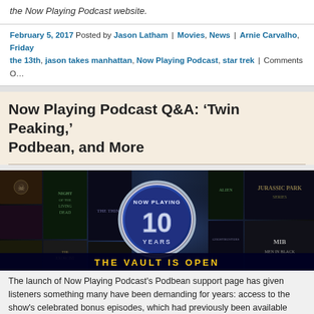the Now Playing Podcast website.
February 5, 2017 Posted by Jason Latham | Movies, News | Arnie Carvalho, Friday the 13th, jason takes manhattan, Now Playing Podcast, star trek | Comments O…
Now Playing Podcast Q&A: 'Twin Peaking,' Podbean, and More
[Figure (photo): Now Playing Podcast 10 Years anniversary banner with movie posters and 'The Vault Is Open' text]
The launch of Now Playing Podcast's Podbean support page has given listeners something many have been demanding for years: access to the show's celebrated bonus episodes, which had previously been available exclusively during Now Playing's bi-annual donation drives.
With those episodes now available via Podbean purchase and…